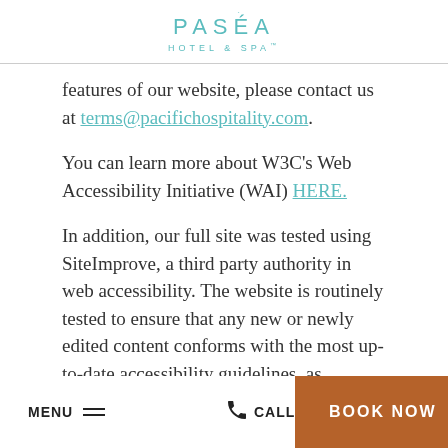PASÉA HOTEL & SPA
features of our website, please contact us at terms@pacifichospitality.com.
You can learn more about W3C's Web Accessibility Initiative (WAI) HERE.
In addition, our full site was tested using SiteImprove, a third party authority in web accessibility. The website is routinely tested to ensure that any new or newly edited content conforms with the most up-to-date accessibility guidelines, as reported by the SiteImprove tool.
MENU  |  CALL  |  BOOK NOW